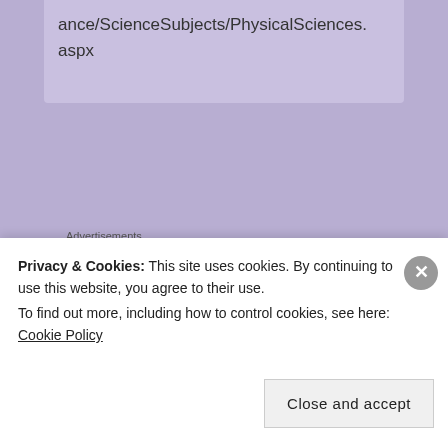ance/ScienceSubjects/PhysicalSciences.aspx
Advertisements
[Figure (screenshot): Automattic advertisement banner with logo and text 'Build a better web and a better world.']
Privacy & Cookies: This site uses cookies. By continuing to use this website, you agree to their use.
To find out more, including how to control cookies, see here: Cookie Policy
Close and accept